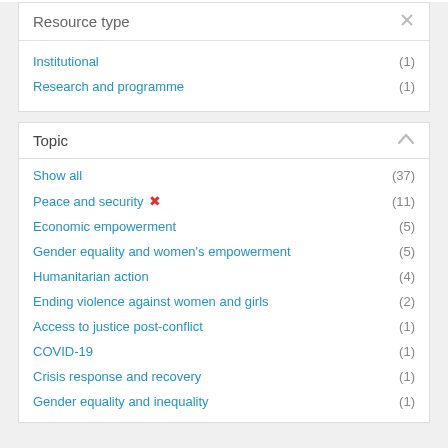Resource type
Institutional (1)
Research and programme (1)
Topic
Show all (37)
Peace and security ✕ (11)
Economic empowerment (5)
Gender equality and women's empowerment (5)
Humanitarian action (4)
Ending violence against women and girls (2)
Access to justice post-conflict (1)
COVID-19 (1)
Crisis response and recovery (1)
Gender equality and inequality (1)